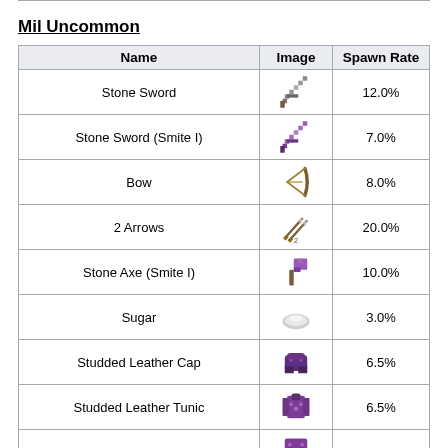Mil Uncommon
| Name | Image | Spawn Rate |
| --- | --- | --- |
| Stone Sword | [icon] | 12.0% |
| Stone Sword (Smite I) | [icon] | 7.0% |
| Bow | [icon] | 8.0% |
| 2 Arrows | [icon] | 20.0% |
| Stone Axe (Smite I) | [icon] | 10.0% |
| Sugar | [icon] | 3.0% |
| Studded Leather Cap | [icon] | 6.5% |
| Studded Leather Tunic | [icon] | 6.5% |
| Studded Leather Pants | [icon] | 6.5% |